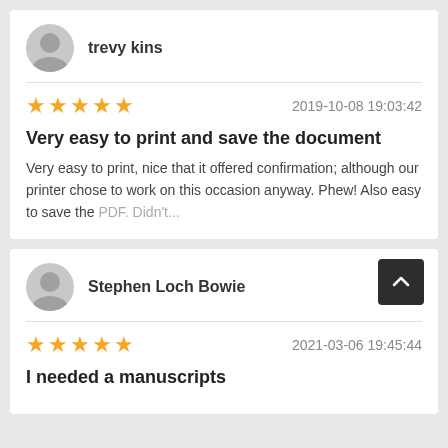trevy kins
★★★★★  2019-10-08 19:03:42
Very easy to print and save the document
Very easy to print, nice that it offered confirmation; although our printer chose to work on this occasion anyway. Phew! Also easy to save the PDF. Didn't...
Stephen Loch Bowie
★★★★★  2021-03-06 19:45:44
I needed a manuscripts